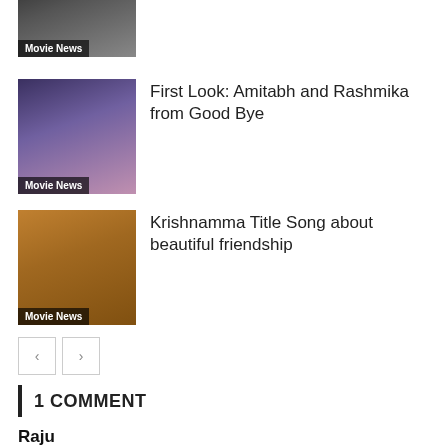[Figure (photo): Partially visible movie thumbnail with Movie News badge and text 'Janaganamana']
Janaganamana
[Figure (photo): Movie thumbnail for Good Bye with Movie News badge]
First Look: Amitabh and Rashmika from Good Bye
[Figure (photo): Movie thumbnail for Krishnamma with Movie News badge]
Krishnamma Title Song about beautiful friendship
< >
1 COMMENT
Raju
May 6, 2021 at 1:43 PM
Good for. Her. More money in corona
Reply